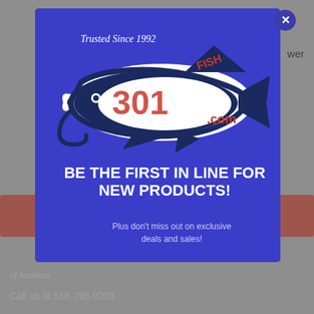wer
[Figure (logo): Fish307.com logo with shark illustration and 'Trusted Since 1992' text on blue modal background]
BE THE FIRST IN LINE FOR NEW PRODUCTS!
Plus don't miss out on exclusive deals and sales!
of America.
Call us at 518-798-9203